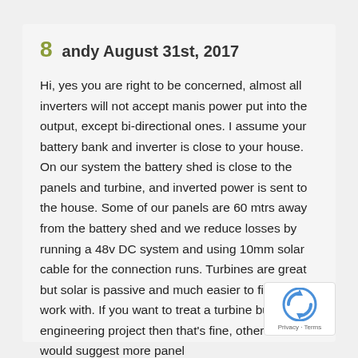8  andy August 31st, 2017
Hi, yes you are right to be concerned, almost all inverters will not accept manis power put into the output, except bi-directional ones. I assume your battery bank and inverter is close to your house. On our system the battery shed is close to the panels and turbine, and inverted power is sent to the house. Some of our panels are 60 mtrs away from the battery shed and we reduce losses by running a 48v DC system and using 10mm solar cable for the connection runs. Turbines are great but solar is passive and much easier to fit and work with. If you want to treat a turbine build as an engineering project then that's fine, otherwise I would suggest more panels
[Figure (logo): reCAPTCHA logo with Privacy and Terms links]